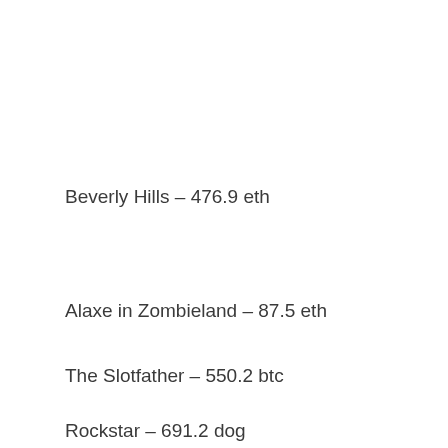Beverly Hills – 476.9 eth
Alaxe in Zombieland – 87.5 eth
The Slotfather – 550.2 btc
Rockstar – 691.2 dog